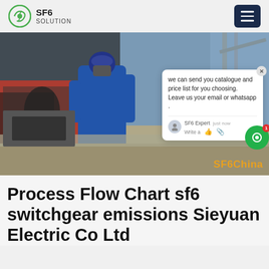SF6 SOLUTION
[Figure (photo): A technician in blue coveralls and cap working on SF6 gas equipment next to a red and white service vehicle at an electrical substation. A chat popup overlay is visible with the message: 'we can send you catalogue and price list for you choosing. Leave us your email or whatsapp .' Signed by SF6 Expert. The watermark 'SF6China' appears in orange at the bottom right.]
Process Flow Chart sf6 switchgear emissions Sieyuan Electric Co Ltd